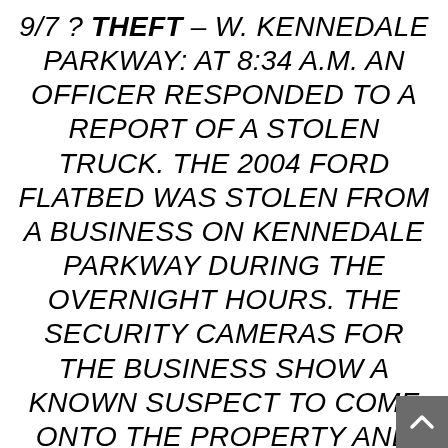9/7 ? THEFT – W. KENNEDALE PARKWAY: AT 8:34 A.M. AN OFFICER RESPONDED TO A REPORT OF A STOLEN TRUCK. THE 2004 FORD FLATBED WAS STOLEN FROM A BUSINESS ON KENNEDALE PARKWAY DURING THE OVERNIGHT HOURS. THE SECURITY CAMERAS FOR THE BUSINESS SHOW A KNOWN SUSPECT TO COME ONTO THE PROPERTY AND WALK AROUND WHILE THE BUSINESS WAS CLOSED. THE SUSPECT?S ADDRESS WAS LOCATED IN FORT